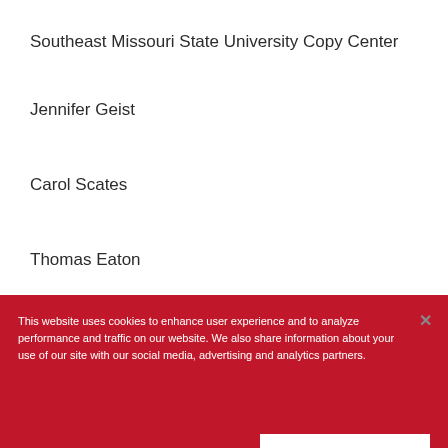Southeast Missouri State University Copy Center
Jennifer Geist
Carol Scates
Thomas Eaton
Debrah Raschke
This website uses cookies to enhance user experience and to analyze performance and traffic on our website. We also share information about your use of our site with our social media, advertising and analytics partners.
Accept Cookies